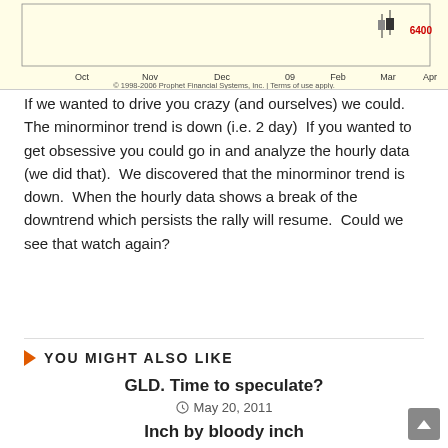[Figure (continuous-plot): Stock price chart with yellow background showing price movement from Oct through Apr. X-axis labels: Oct, Nov, Dec, 09, Feb, Mar, Apr. Price label 6400 in red on right side. Copyright: © 1998-2006 Prophet Financial Systems, Inc. | Terms of use apply.]
If we wanted to drive you crazy (and ourselves) we could.  The minorminor trend is down (i.e. 2 day)  If you wanted to get obsessive you could go in and analyze the hourly data (we did that).  We discovered that the minorminor trend is down.  When the hourly data shows a break of the downtrend which persists the rally will resume.  Could we see that watch again?
YOU MIGHT ALSO LIKE
GLD. Time to speculate?
May 20, 2011
Inch by bloody inch